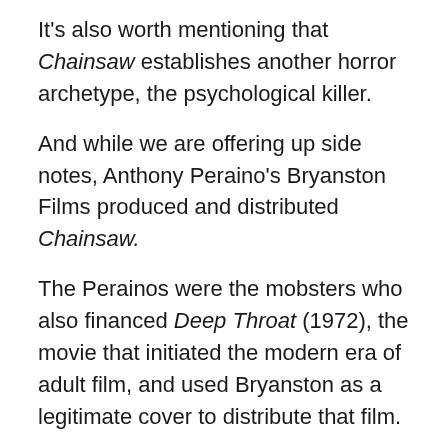It's also worth mentioning that Chainsaw establishes another horror archetype, the psychological killer.
And while we are offering up side notes, Anthony Peraino's Bryanston Films produced and distributed Chainsaw.
The Perainos were the mobsters who also financed Deep Throat (1972), the movie that initiated the modern era of adult film, and used Bryanston as a legitimate cover to distribute that film.
They jolted American culture with off-the-wall violence in one production and hardcore sex in another, forever changing how we regard free speech in film and slamming the door for good on the puritanical Hayes Code that dominated Hollywood from the mid-1930s to the late 1960s.